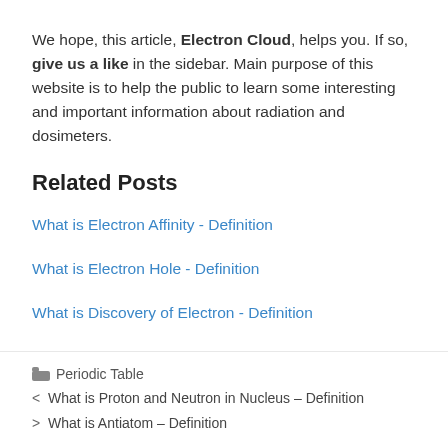We hope, this article, Electron Cloud, helps you. If so, give us a like in the sidebar. Main purpose of this website is to help the public to learn some interesting and important information about radiation and dosimeters.
Related Posts
What is Electron Affinity - Definition
What is Electron Hole - Definition
What is Discovery of Electron - Definition
Periodic Table | What is Proton and Neutron in Nucleus – Definition | What is Antiatom – Definition